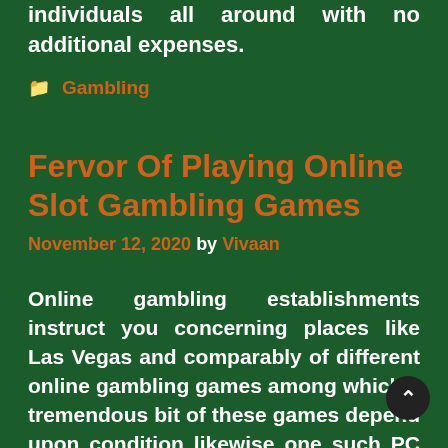individuals all around with no additional expenses.
Gambling
Fervor Of Playing Online Slot Gambling Games
November 12, 2020 by Vivaan
Online gambling establishments instruct you concerning places like Las Vegas and comparably of different online gambling games among which a tremendous bit of these games depend upon condition likewise one such PC game is the online slot